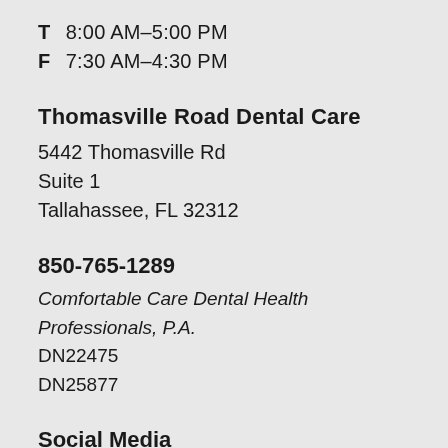T  8:00 AM–5:00 PM
F  7:30 AM–4:30 PM
Thomasville Road Dental Care
5442 Thomasville Rd
Suite 1
Tallahassee, FL 32312
850-765-1289
Comfortable Care Dental Health Professionals, P.A.
DN22475
DN25877
Social Media
[Figure (logo): Facebook logo icon — rounded square with white 'f' on black background]